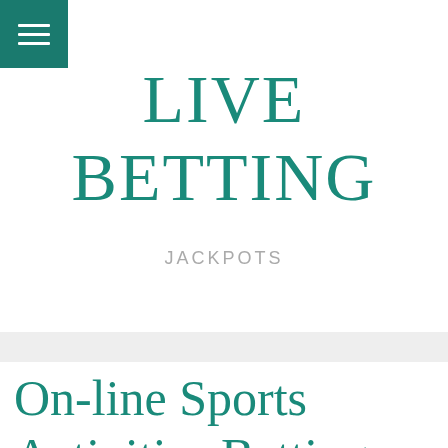[Figure (other): Hamburger menu icon button with three white horizontal lines on a dark teal/green square background in the top-left corner]
LIVE BETTING
JACKPOTS
On-line Sports Activities Betting